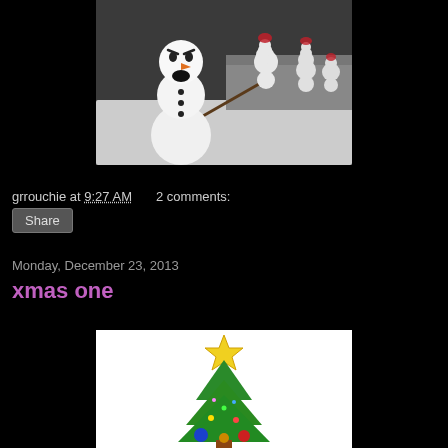[Figure (photo): A close-up photo of a grumpy-looking snowman in the foreground with several smaller snowmen with red decorations in the snowy background. The scene is set outdoors with a concrete ledge visible.]
grrouchie at 9:27 AM   2 comments:
Share
Monday, December 23, 2013
xmas one
[Figure (illustration): A colorful Christmas tree illustration with a yellow star on top and ornaments at the base, on a white background.]